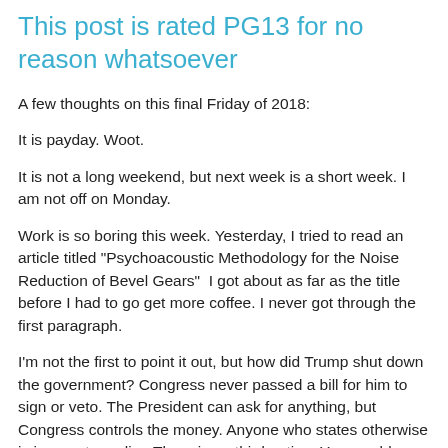This post is rated PG13 for no reason whatsoever
A few thoughts on this final Friday of 2018:
It is payday. Woot.
It is not a long weekend, but next week is a short week. I am not off on Monday.
Work is so boring this week. Yesterday, I tried to read an article titled "Psychoacoustic Methodology for the Noise Reduction of Bevel Gears"  I got about as far as the title before I had to go get more coffee. I never got through the first paragraph.
I'm not the first to point it out, but how did Trump shut down the government? Congress never passed a bill for him to sign or veto. The President can ask for anything, but Congress controls the money. Anyone who states otherwise is ignorant or a liar. There is no third option. You can blame